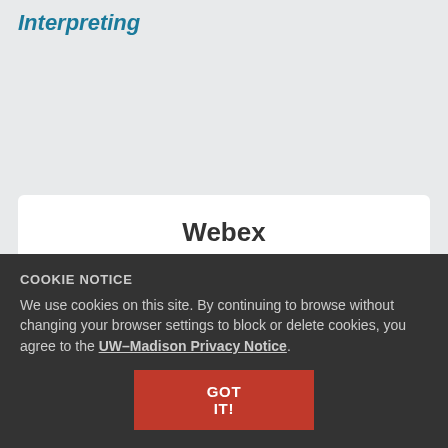Interpreting
Webex
Using audio transcription in Webex
Viewing an editing your Webex transcript
COOKIE NOTICE
We use cookies on this site. By continuing to browse without changing your browser settings to block or delete cookies, you agree to the UW–Madison Privacy Notice.
GOT IT!